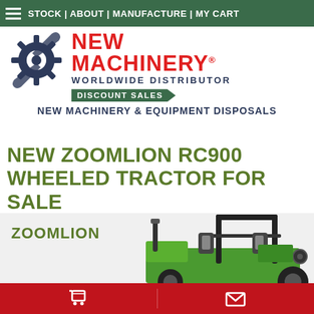STOCK | ABOUT | MANUFACTURE | MY CART
[Figure (logo): New Machinery logo with gear/wrench icon, red NEW MACHINERY text with registered trademark, WORLDWIDE DISTRIBUTOR subtitle, green DISCOUNT SALES badge]
NEW MACHINERY & EQUIPMENT DISPOSALS
NEW ZOOMLION RC900 WHEELED TRACTOR FOR SALE
[Figure (photo): Zoomlion RC900 wheeled tractor product photo showing upper cab area, ZOOMLION brand name in green text, green tractor body with roll bar frame and mirrors visible]
Shopping cart icon | Envelope/email icon